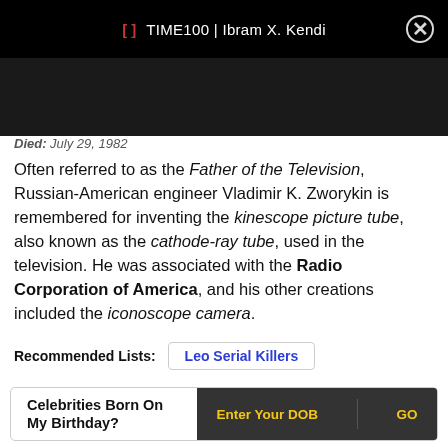TIME100 | Ibram X. Kendi
Died: July 29, 1982
Often referred to as the Father of the Television, Russian-American engineer Vladimir K. Zworykin is remembered for inventing the kinescope picture tube, also known as the cathode-ray tube, used in the television. He was associated with the Radio Corporation of America, and his other creations included the iconoscope camera.
Recommended Lists: Leo Serial Killers
Celebrities Born On My Birthday? Enter Your DOB GO